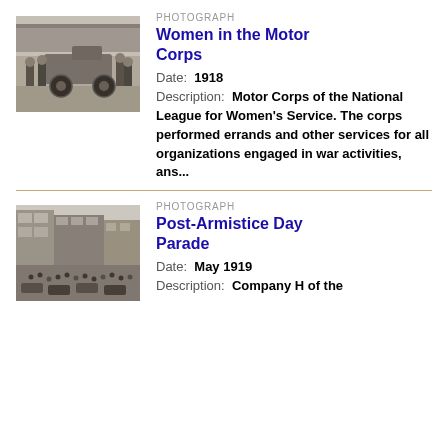[Figure (photo): Black and white photograph of women standing near a motor vehicle, Women in the Motor Corps, 1918]
PHOTOGRAPH
Women in the Motor Corps
Date: 1918
Description: Motor Corps of the National League for Women's Service. The corps performed errands and other services for all organizations engaged in war activities, ans...
[Figure (photo): Black and white photograph of a large crowd and vehicles in a street parade, Post-Armistice Day Parade, May 1919]
PHOTOGRAPH
Post-Armistice Day Parade
Date: May 1919
Description: Company H of the